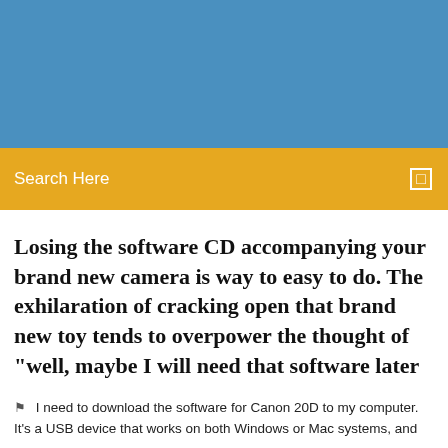[Figure (other): Blue header banner area]
Search Here
Losing the software CD accompanying your brand new camera is way to easy to do. The exhilaration of cracking open that brand new toy tends to overpower the thought of "well, maybe I will need that software later
I need to download the software for Canon 20D to my computer. It's a USB device that works on both Windows or Mac systems, and